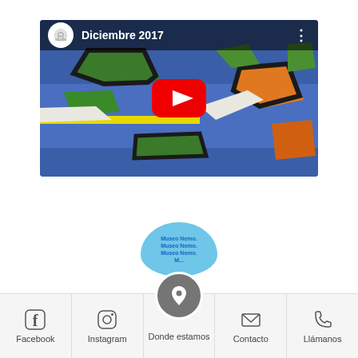[Figure (screenshot): YouTube video thumbnail showing a colorful abstract painting (bird's-eye map-like composition in blue, green, orange, black and yellow) with the title 'Diciembre 2017' and a red YouTube play button overlay. A channel logo circle is shown top-left.]
[Figure (screenshot): A light-blue map location bubble showing repeated text 'Museo Nemo.' above a grey circular location-pin icon button in the bottom navigation bar.]
[Figure (screenshot): Bottom navigation bar with five items: Facebook (f icon), Instagram (camera icon), Donde estamos (location pin icon on raised dark circle), Contacto (envelope icon), Llámanos (phone icon).]